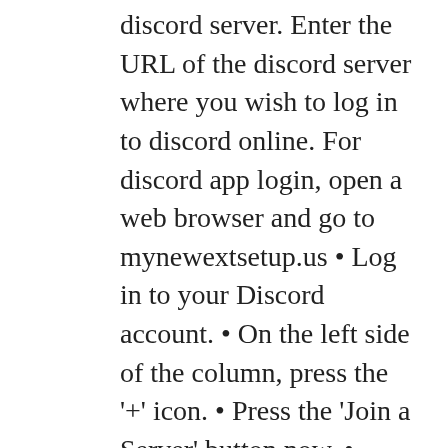discord server. Enter the URL of the discord server where you wish to log in to discord online. For discord app login, open a web browser and go to mynewextsetup.us &bull; Log in to your Discord account. &bull; On the left side of the column, press the &#39;+&#39; icon. &bull; Press the &#39;Join a Server&#39; button now. &bull; Copy or paste the invitation URL. Finally, select the &#39;Join&#39; option. Yes, you have successfully joined the Discord server. Log in Discord Server With Android You can use the instructions below that how to log in discord server with Android, smartphone, or tablet. &bull; First, launch the Discord app on your Android phone, which you may have